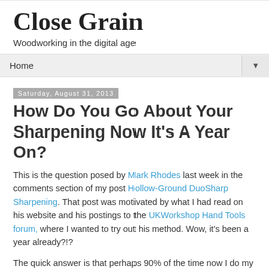Close Grain
Woodworking in the digital age
Home ▼
Saturday, August 31, 2013
How Do You Go About Your Sharpening Now It's A Year On?
This is the question posed by Mark Rhodes last week in the comments section of my post Hollow-Ground DuoSharp Sharpening. That post was motivated by what I had read on his website and his postings to the UKWorkshop Hand Tools forum, where I wanted to try out his method. Wow, it's been a year already?!?
The quick answer is that perhaps 90% of the time now I do my sharpening freehand on Norton oilstone, either forward